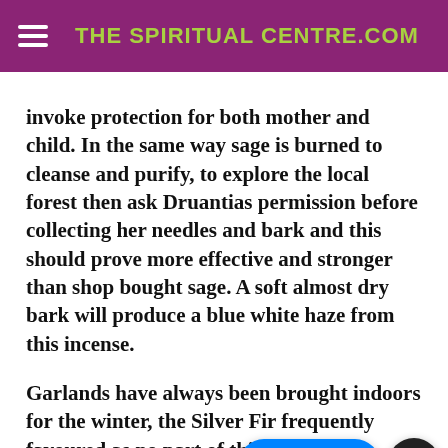THE SPIRITUAL CENTRE.COM
invoke protection for both mother and child. In the same way sage is burned to cleanse and purify, to explore the local forest then ask Druantias permission before collecting her needles and bark and this should prove more effective and stronger than shop bought sage. A soft almost dry bark will produce a blue white haze from this incense.
Garlands have always been brought indoors for the winter, the Silver Fir frequently favoured as no part of this waste. With long cold nights carefully made